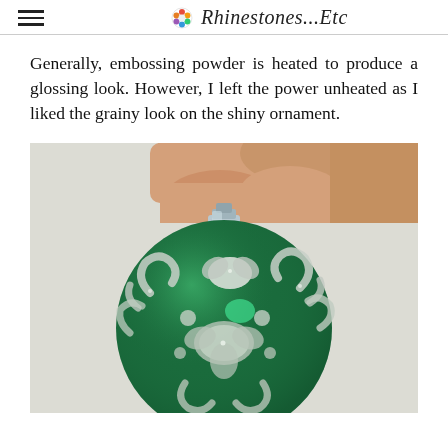Rhinestones...Etc
Generally, embossing powder is heated to produce a glossing look. However, I left the power unheated as I liked the grainy look on the shiny ornament.
[Figure (photo): Close-up photo of a hand holding a dark green glass Christmas ornament decorated with silver glittery embossing powder in a floral/swirl pattern. The ornament has a silver metal cap at the top.]